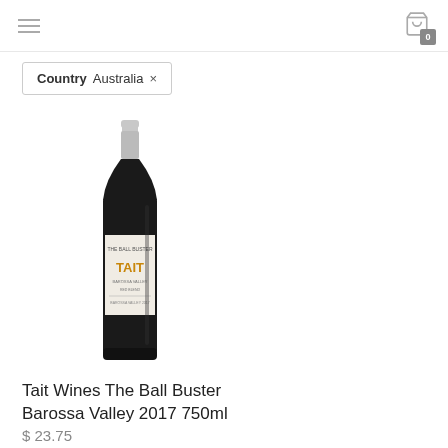≡  [cart icon] 0
Country Australia ×
[Figure (photo): A bottle of Tait Wines The Ball Buster red wine, dark glass bottle with a light grey capsule and a white label with the word TAIT in orange/gold lettering]
Tait Wines The Ball Buster Barossa Valley 2017 750ml
$ 23.75